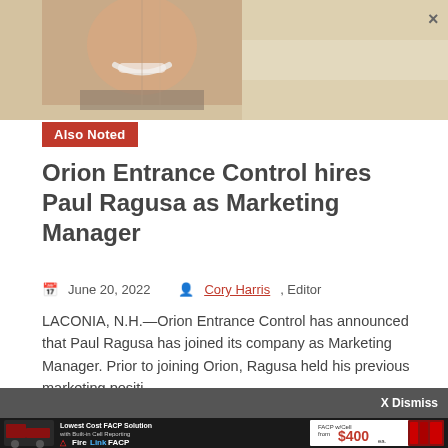[Figure (photo): Partial view of a person smiling, photo overlaid with a tan/beige background area, with a close (X) button in the upper right.]
Also Noted
Orion Entrance Control hires Paul Ragusa as Marketing Manager
June 20, 2022   Cory Harris, Editor
LACONIA, N.H.—Orion Entrance Control has announced that Paul Ragusa has joined its company as Marketing Manager. Prior to joining Orion, Ragusa held various marketing positions
X Dismiss
[Figure (infographic): Advertisement banner: Lowest Cost FACP Solution with Built-in Cell Reporting. FireLink FACP. FACP w/Cell from $400.]